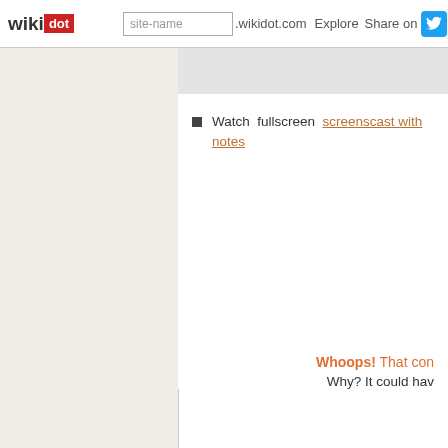[Figure (screenshot): Wikidot navigation bar with logo, site-name search input, .wikidot.com domain text, Explore and Share on links, and Twitter icon]
Watch fullscreen screenscast with notes
Whoops! That con Why? It could hav